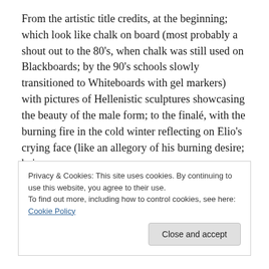From the artistic title credits, at the beginning; which look like chalk on board (most probably a shout out to the 80's, when chalk was still used on Blackboards; by the 90's schools slowly transitioned to Whiteboards with gel markers) with pictures of Hellenistic sculptures showcasing the beauty of the male form; to the finalé, with the burning fire in the cold winter reflecting on Elio's crying face (like an allegory of his burning desire; being
Privacy & Cookies: This site uses cookies. By continuing to use this website, you agree to their use.
To find out more, including how to control cookies, see here: Cookie Policy